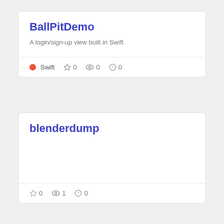BallPitDemo
A login/sign-up view built in Swift
Swift  ☆ 0  👁 0  ⚠ 0
blenderdump
☆ 0  👁 1  ⚠ 0